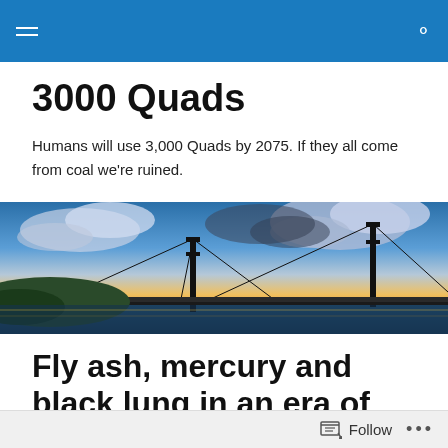3000 Quads
Humans will use 3,000 Quads by 2075. If they all come from coal we're ruined.
[Figure (photo): Panoramic photo of a suspension bridge at sunset/dusk with dramatic clouds, warm orange and yellow sky, calm water below, and the bridge silhouetted against the sky.]
Fly ash, mercury and black lung in an era of 3,000 quads
Coal generates more than three quarters to 77%
Follow ...